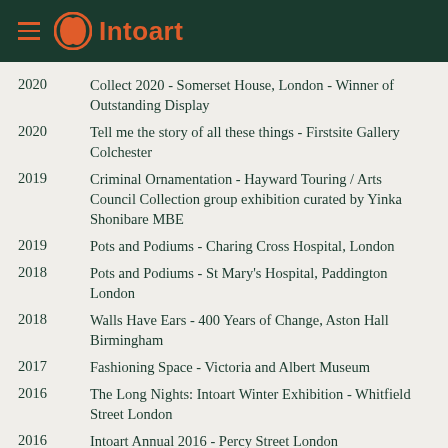Intoart
2020 — Collect 2020 - Somerset House, London - Winner of Outstanding Display
2020 — Tell me the story of all these things - Firstsite Gallery Colchester
2019 — Criminal Ornamentation - Hayward Touring / Arts Council Collection group exhibition curated by Yinka Shonibare MBE
2019 — Pots and Podiums - Charing Cross Hospital, London
2018 — Pots and Podiums - St Mary's Hospital, Paddington London
2018 — Walls Have Ears - 400 Years of Change, Aston Hall Birmingham
2017 — Fashioning Space - Victoria and Albert Museum
2016 — The Long Nights: Intoart Winter Exhibition - Whitfield Street London
2016 — Intoart Annual 2016 - Percy Street London
2015 — Intoart Annual 2015 - Studio Voltaire London